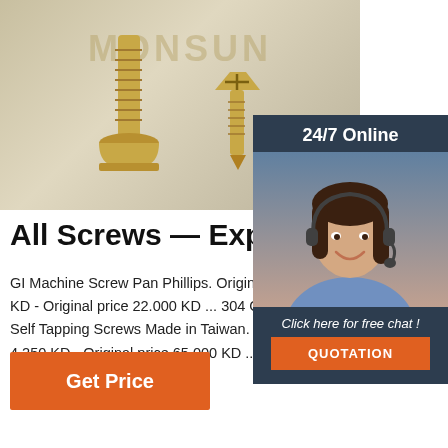[Figure (photo): Photo of two gold/brass colored screws against a light background, with MONSUN watermark text. One screw is upright (tall pan head), one is laying at an angle (flat/countersunk head).]
[Figure (photo): 24/7 Online chat widget overlay showing a smiling woman with a headset, 'Click here for free chat!' text, and a QUOTATION button.]
All Screws — Express tec
GI Machine Screw Pan Phillips. Original pric KD - Original price 22.000 KD ... 304 CSK Fl Self Tapping Screws Made in Taiwan. Origina 4.250 KD - Original price 65.000 KD ... Shipping Address
Get Price